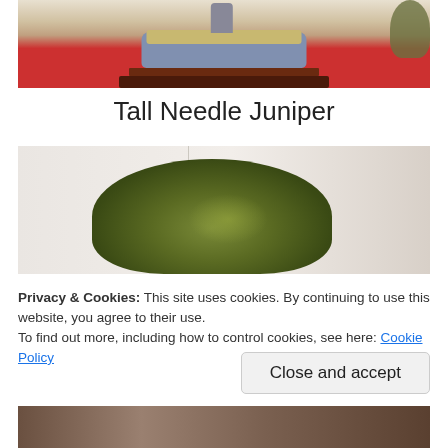[Figure (photo): Photo of a bonsai tree in a gray rectangular pot on a dark wooden stand, set on a red cloth surface]
Tall Needle Juniper
[Figure (photo): Photo of a round leafy bonsai plant with dark green and yellowish leaves against a light beige/white background]
Privacy & Cookies: This site uses cookies. By continuing to use this website, you agree to their use.
To find out more, including how to control cookies, see here: Cookie Policy
Close and accept
[Figure (photo): Partial photo visible at the bottom of the page showing a dark interior scene]